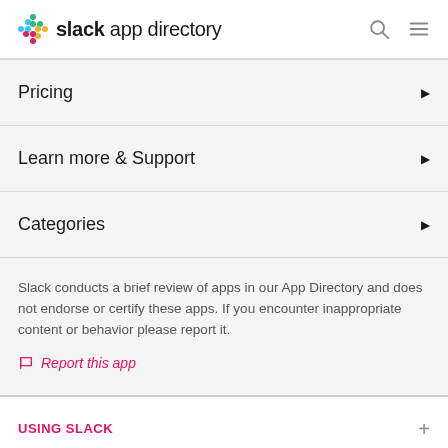slack app directory
Pricing
Learn more & Support
Categories
Slack conducts a brief review of apps in our App Directory and does not endorse or certify these apps. If you encounter inappropriate content or behavior please report it.
Report this app
USING SLACK
SLACK ♥